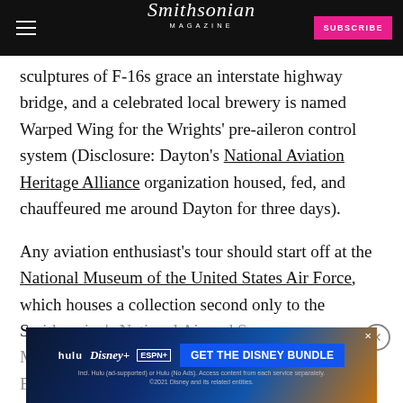Smithsonian Magazine
sculptures of F-16s grace an interstate highway bridge, and a celebrated local brewery is named Warped Wing for the Wrights' pre-aileron control system (Disclosure: Dayton's National Aviation Heritage Alliance organization housed, fed, and chauffeured me around Dayton for three days).

Any aviation enthusiast's tour should start off at the National Museum of the United States Air Force, which houses a collection second only to the Smithsonian's National Air and Space Museum, for the Enola Gay, while NMUSAF has Bockscar...
[Figure (other): Disney Bundle advertisement banner showing Hulu, Disney+, and ESPN+ logos with 'GET THE DISNEY BUNDLE' call to action]